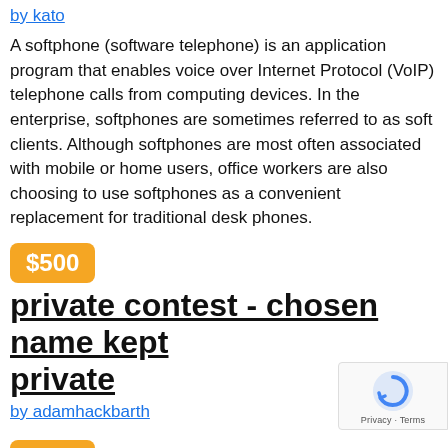by kato
A softphone (software telephone) is an application program that enables voice over Internet Protocol (VoIP) telephone calls from computing devices. In the enterprise, softphones are sometimes referred to as soft clients. Although softphones are most often associated with mobile or home users, office workers are also choosing to use softphones as a convenient replacement for traditional desk phones.
$500
private contest - chosen name kept private
by adamhackbarth
$250
private contest - chosen name kept